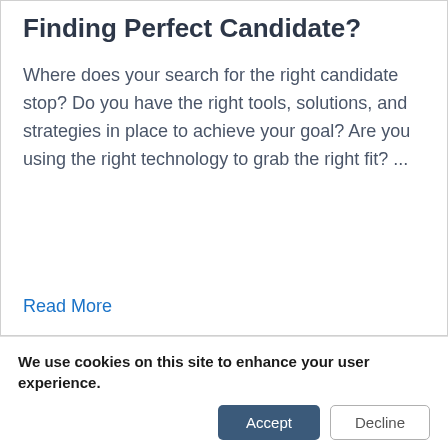Finding Perfect Candidate?
Where does your search for the right candidate stop? Do you have the right tools, solutions, and strategies in place to achieve your goal? Are you using the right technology to grab the right fit? ...
Read More
We use cookies on this site to enhance your user experience.